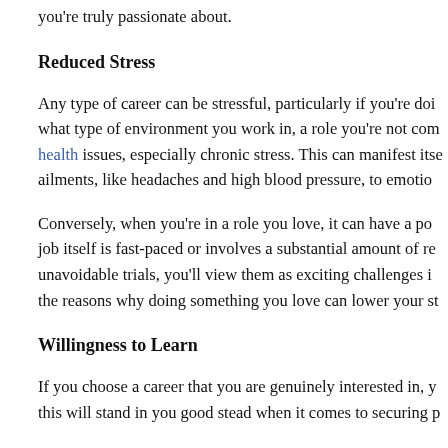you're truly passionate about.
Reduced Stress
Any type of career can be stressful, particularly if you're doing what type of environment you work in, a role you're not com health issues, especially chronic stress. This can manifest itse ailments, like headaches and high blood pressure, to emotion
Conversely, when you're in a role you love, it can have a pos job itself is fast-paced or involves a substantial amount of res unavoidable trials, you'll view them as exciting challenges in the reasons why doing something you love can lower your st
Willingness to Learn
If you choose a career that you are genuinely interested in, y this will stand in you good stead when it comes to securing p